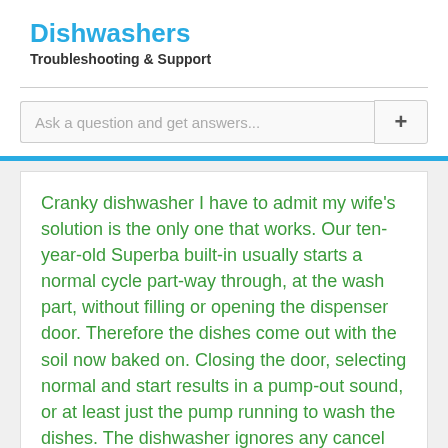Dishwashers
Troubleshooting & Support
Ask a question and get answers...
Cranky dishwasher I have to admit my wife's solution is the only one that works. Our ten-year-old Superba built-in usually starts a normal cycle part-way through, at the wash part, without filling or opening the dispenser door. Therefore the dishes come out with the soil now baked on. Closing the door, selecting normal and start results in a pump-out sound, or at least just the pump running to wash the dishes. The dishwasher ignores any cancel button push,and the light does not come on over t